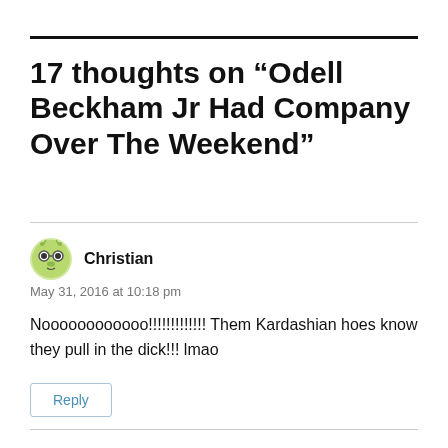17 thoughts on “Odell Beckham Jr Had Company Over The Weekend”
Christian
May 31, 2016 at 10:18 pm
Noooooooooooo!!!!!!!!!!!!! Them Kardashian hoes know they pull in the dick!!! lmao
Reply